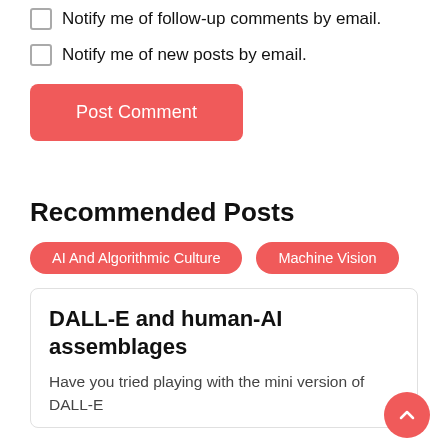Notify me of follow-up comments by email.
Notify me of new posts by email.
Post Comment
Recommended Posts
AI And Algorithmic Culture
Machine Vision
DALL-E and human-AI assemblages
Have you tried playing with the mini version of DALL-E